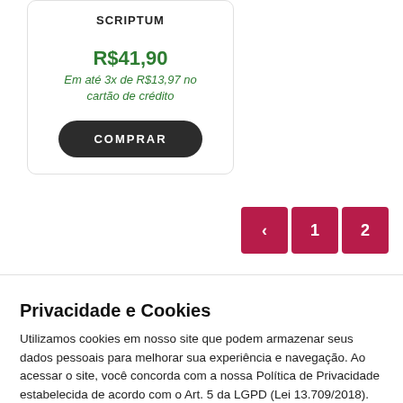SCRIPTUM
R$41,90
Em até 3x de R$13,97 no cartão de crédito
COMPRAR
[Figure (other): Pagination buttons: left arrow, 1, 2]
Privacidade e Cookies
Utilizamos cookies em nosso site que podem armazenar seus dados pessoais para melhorar sua experiência e navegação. Ao acessar o site, você concorda com a nossa Política de Privacidade estabelecida de acordo com o Art. 5 da LGPD (Lei 13.709/2018). Leia mais
Configurações de Cookies
Aceitar Tudo